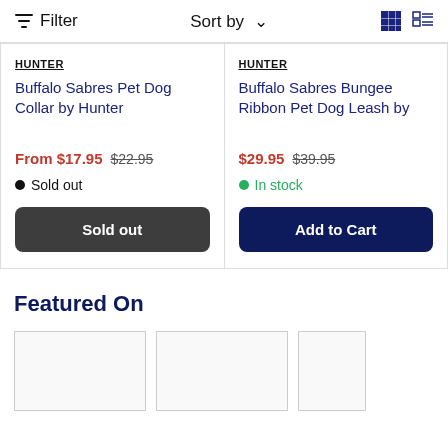Filter   Sort by   [grid view] [list view]
HUNTER
Buffalo Sabres Pet Dog Collar by Hunter
From $17.95  $22.95
● Sold out
[Sold out button]
HUNTER
Buffalo Sabres Bungee Ribbon Pet Dog Leash by
$29.95  $39.95
● In stock
[Add to Cart button]
Featured On
[Figure (other): Three placeholder image boxes for Featured On section]